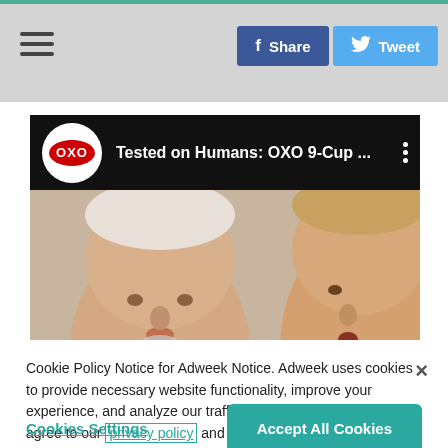≡  [Share] [Tweet]
[Figure (screenshot): YouTube-style video thumbnail showing OXO logo and title 'Tested on Humans: OXO 9-Cup ...' with two faces looking upward on a light background]
Cookie Policy Notice for Adweek Notice. Adweek uses cookies to provide necessary website functionality, improve your experience, and analyze our traffic. By using our website, you agree to our privacy policy and our cookies usage.
Cookies Settings    Accept All Cookies